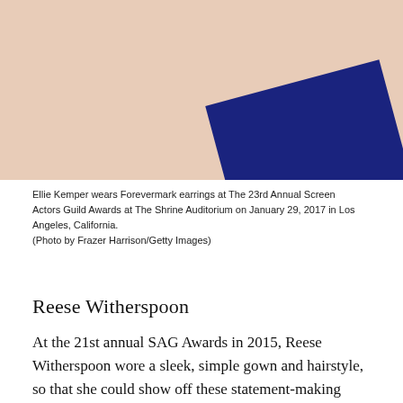[Figure (photo): Close-up photo of a person's neck and décolletage area with skin tone color, with a dark navy blue fabric visible on the right side.]
Ellie Kemper wears Forevermark earrings at The 23rd Annual Screen Actors Guild Awards at The Shrine Auditorium on January 29, 2017 in Los Angeles, California.
(Photo by Frazer Harrison/Getty Images)
Reese Witherspoon
At the 21st annual SAG Awards in 2015, Reese Witherspoon wore a sleek, simple gown and hairstyle, so that she could show off these statement-making earrings. They featured 9.2 carats in total, and beautifully reflected light thanks to a perfect emerald cut. Designed by Harry Winston, it was her earrings'